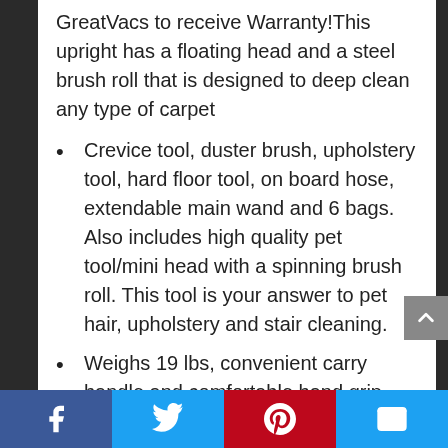GreatVacs to receive Warranty!This upright has a floating head and a steel brush roll that is designed to deep clean any type of carpet
Crevice tool, duster brush, upholstery tool, hard floor tool, on board hose, extendable main wand and 6 bags. Also includes high quality pet tool/mini head with a spinning brush roll. This tool is your answer to pet hair, upholstery and stair cleaning.
Weighs 19 lbs, convenient carry handle and comfortable hand grip.
Social share bar: Facebook, Twitter, Pinterest, Email